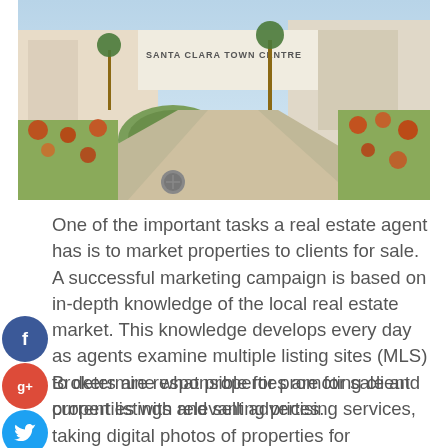[Figure (photo): Outdoor photo of Santa Clara Town Centre entrance with landscaping, a circular garden feature, wide pedestrian walkway, and retail buildings on both sides under a clear sky.]
One of the important tasks a real estate agent has is to market properties to clients for sale. A successful marketing campaign is based on in-depth knowledge of the local real estate market. This knowledge develops every day as agents examine multiple listing sites (MLS) to determine what properties are for sale and current listings and selling prices.
Brokers are responsible for promoting client properties with relevant advertising services, taking digital photos of properties for advertising presentations and promotional